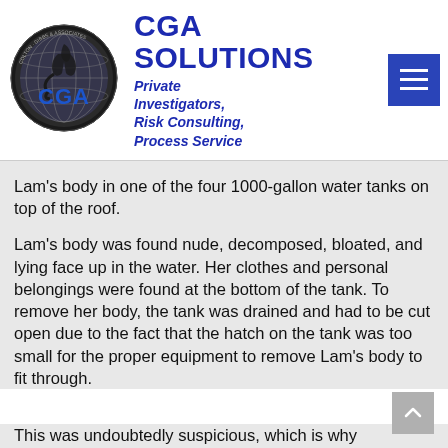[Figure (logo): CGA Solutions circular logo with globe, scorpion, and CGA text in blue]
CGA SOLUTIONS
Private Investigators, Risk Consulting, Process Service
Lam's body in one of the four 1000-gallon water tanks on top of the roof.
Lam's body was found nude, decomposed, bloated, and lying face up in the water. Her clothes and personal belongings were found at the bottom of the tank. To remove her body, the tank was drained and had to be cut open due to the fact that the hatch on the tank was too small for the proper equipment to remove Lam's body to fit through.
This was undoubtedly suspicious, which is why